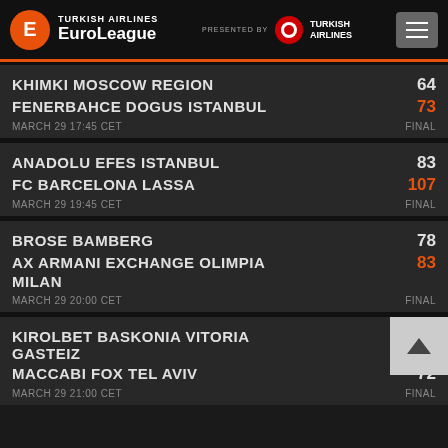[Figure (logo): Turkish Airlines EuroLeague header with logo, presented by Turkish Airlines, and hamburger menu]
| Team | Score | Status |
| --- | --- | --- |
| KHIMKI MOSCOW REGION | 64 |  |
| FENERBAHCE DOGUS ISTANBUL | 73 |  |
| MARCH 29 17:45 CET |  | FINAL |
| ANADOLU EFES ISTANBUL | 83 |  |
| FC BARCELONA LASSA | 107 |  |
| MARCH 29 19:45 CET |  | FINAL |
| BROSE BAMBERG | 78 |  |
| AX ARMANI EXCHANGE OLIMPIA MILAN | 83 |  |
| MARCH 29 20:00 CET |  | FINAL |
| KIROLBET BASKONIA VITORIA GASTEIZ | 83 |  |
| MACCABI FOX TEL AVIV | 72 |  |
| MARCH 29 21:00 CET |  | FINAL |